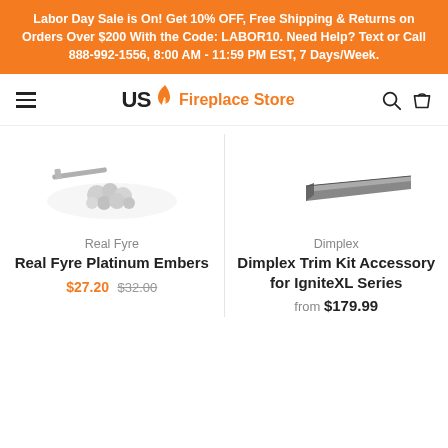Labor Day Sale is On! Get 10% OFF, Free Shipping & Returns on Orders Over $200 With the Code: LABOR10. Need Help? Text or Call 888-992-1556, 8:00 AM - 11:59 PM EST, 7 Days/Week.
US Fireplace Store
[Figure (photo): Product image of Real Fyre Platinum Embers — small grey/silver embers scattered on surface]
Real Fyre
Real Fyre Platinum Embers
$27.20 $32.00
[Figure (photo): Product image of Dimplex Trim Kit Accessory for IgniteXL Series — dark metallic trim piece]
Dimplex
Dimplex Trim Kit Accessory for IgniteXL Series
from $179.99